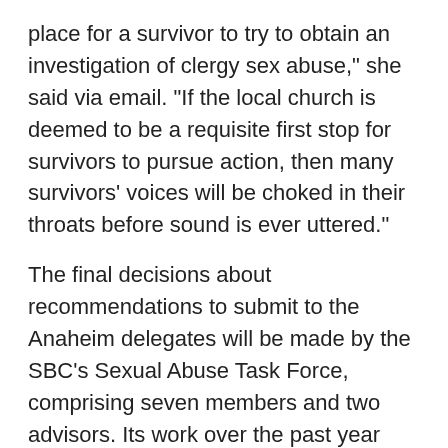place for a survivor to try to obtain an investigation of clergy sex abuse," she said via email. "If the local church is deemed to be a requisite first stop for survivors to pursue action, then many survivors' voices will be choked in their throats before sound is ever uttered."
The final decisions about recommendations to submit to the Anaheim delegates will be made by the SBC's Sexual Abuse Task Force, comprising seven members and two advisors. Its work over the past year has been an emotional journey, said Pastor Bruce Frank, who led the group.
"We saw patterns and things that were deeply concerning," he said. "Our main job was to empower Guidepost to do their job, and they have done a truly remarkable job in the last nine months to look at